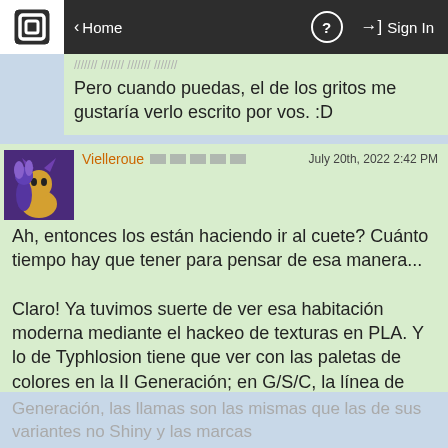Home | ? | Sign In
Pero cuando puedas, el de los gritos me gustaría verlo escrito por vos. :D
Vielleroue   July 20th, 2022 2:42 PM
Ah, entonces los están haciendo ir al cuete? Cuánto tiempo hay que tener para pensar de esa manera...

Claro! Ya tuvimos suerte de ver esa habitación moderna mediante el hackeo de texturas en PLA. Y lo de Typhlosion tiene que ver con las paletas de colores en la II Generación; en G/S/C, la línea de Cyndaquil entera tenía las llamas violetas y las marcas negras, pero para la III
Generación, las llamas son las mismas que las de sus variantes no Shiny y las marcas